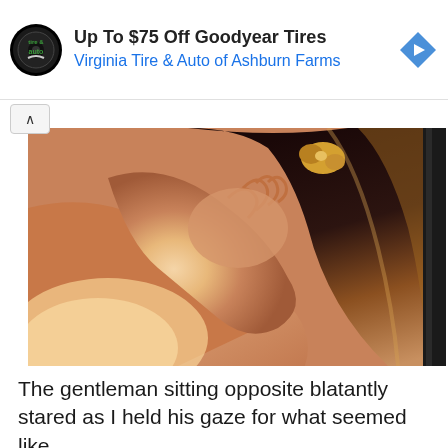[Figure (other): Advertisement banner for Virginia Tire & Auto of Ashburn Farms showing tire & auto logo, text 'Up To $75 Off Goodyear Tires' and 'Virginia Tire & Auto of Ashburn Farms', with a blue diamond arrow icon on the right]
[Figure (photo): Close-up photograph of a person's shoulder and hand, with dark hair and a gold hair accessory, warm tones with sunlight]
The gentleman sitting opposite blatantly stared as I held his gaze for what seemed like